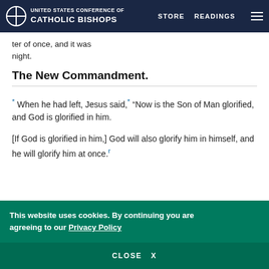United States Conference of Catholic Bishops — STORE  READINGS
ter of once, and it was night.
The New Commandment.
* When he had left, Jesus said,* “Now is the Son of Man glorified, and God is glorified in him.
[If God is glorified in him,] God will also glorify him in himself, and he will glorify him at once.ʳ
This website uses cookies. By continuing you are agreeing to our Privacy Policy
CLOSE  X